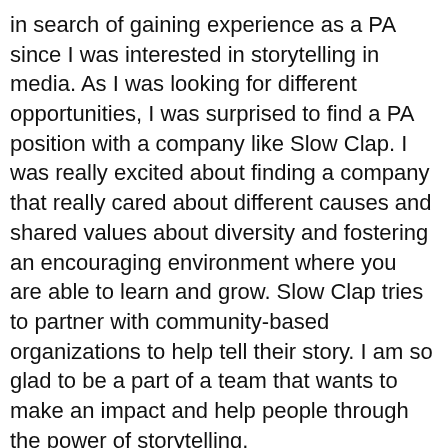in search of gaining experience as a PA since I was interested in storytelling in media. As I was looking for different opportunities, I was surprised to find a PA position with a company like Slow Clap. I was really excited about finding a company that really cared about different causes and shared values about diversity and fostering an encouraging environment where you are able to learn and grow. Slow Clap tries to partner with community-based organizations to help tell their story. I am so glad to be a part of a team that wants to make an impact and help people through the power of storytelling.
What am I watching?
Since I watch a lot more dramas than films, I think one of my favorite Korean TV dramas is My Mister. Watching it during the pandemic and without